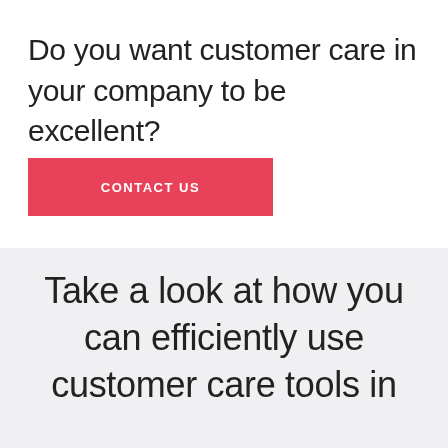Do you want customer care in your company to be excellent?
CONTACT US
Take a look at how you can efficiently use customer care tools in